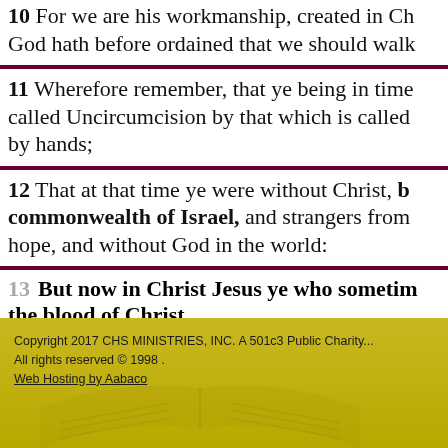10 For we are his workmanship, created in C... God hath before ordained that we should walk...
11 Wherefore remember, that ye being in time past called Uncircumcision by that which is called ... by hands;
12 That at that time ye were without Christ, being aliens from the commonwealth of Israel, and strangers from ... hope, and without God in the world:
13 But now in Christ Jesus ye who sometime... the blood of Christ.
Copyright 2017 CHS MINISTRIES, INC. A 501c3 Public Charity...
All rights reserved © 1998 .
Web Hosting by Aabaco